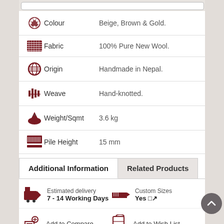| Icon | Attribute | Value |
| --- | --- | --- |
| [colour icon] | Colour | Beige, Brown & Gold. |
| [fabric icon] | Fabric | 100% Pure New Wool. |
| [globe icon] | Origin | Handmade in Nepal. |
| [weave icon] | Weave | Hand-knotted. |
| [weight icon] | Weight/Sqmt | 3.6 kg |
| [pile icon] | Pile Height | 15 mm |
Additional Information | Related Products
Estimated delivery
7 - 14 Working Days
Custom Sizes
Yes ↗
Add to Compare
Add to Wish List
Email to a Friend